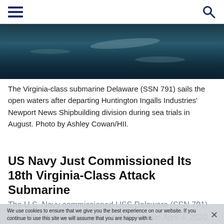Navigation menu and search icon
[Figure (photo): Ocean surface with dark blue-green water, top portion of a submarine photo — the Virginia-class submarine Delaware (SSN 791) sailing open waters.]
The Virginia-class submarine Delaware (SSN 791) sails the open waters after departing Huntington Ingalls Industries' Newport News Shipbuilding division during sea trials in August. Photo by Ashley Cowan/HII.
US Navy Just Commissioned Its 18th Virginia-Class Attack Submarine
The U.S. Navy commissioned USS Delaware (SSN 791), the 18th Virginia-class attack submarine on April 4, 2020. It is the final Block III Virginia-class submarine, before the next wave of Block IV deliveries.
Nathan Gain   06 Apr 2020